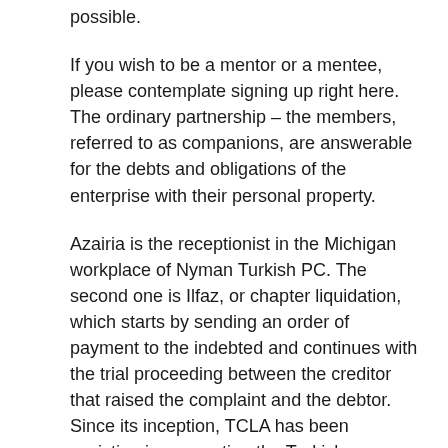possible.
If you wish to be a mentor or a mentee, please contemplate signing up right here. The ordinary partnership – the members, referred to as companions, are answerable for the debts and obligations of the enterprise with their personal property.
Azairia is the receptionist in the Michigan workplace of Nyman Turkish PC. The second one is Ilfaz, or chapter liquidation, which starts by sending an order of payment to the indebted and continues with the trial proceeding between the creditor that raised the complaint and the debtor. Since its inception, TCLA has been assisting in connecting the Turkish diaspora in Alberta, British Columbia, and Ontario with authorized specialists, and has been offering mentorship to its pupil members. Ariana is an consumption specialist at Nyman Turkish PC. She